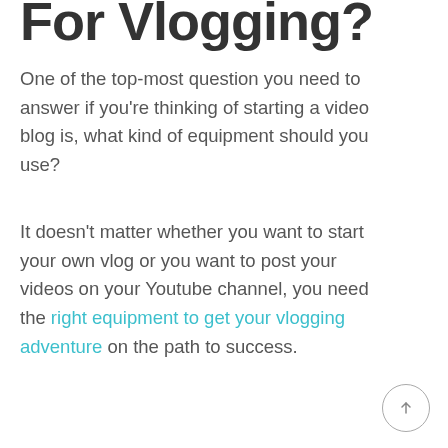For Vlogging?
One of the top-most question you need to answer if you're thinking of starting a video blog is, what kind of equipment should you use?
It doesn't matter whether you want to start your own vlog or you want to post your videos on your Youtube channel, you need the right equipment to get your vlogging adventure on the path to success.